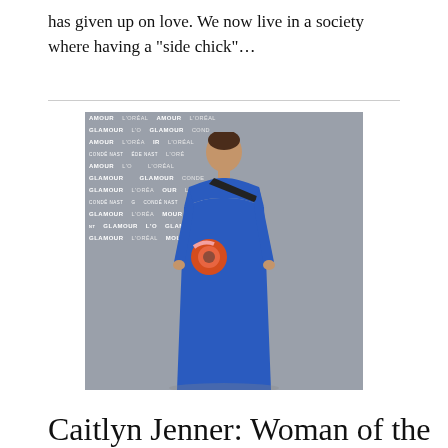has given up on love. We now live in a society where having a “side chick”…
[Figure (photo): A person wearing a long royal blue off-shoulder gown holding an orange award, standing in front of a Glamour / L'Oreal / Condé Nast branded backdrop on a grey carpet.]
Caitlyn Jenner: Woman of the